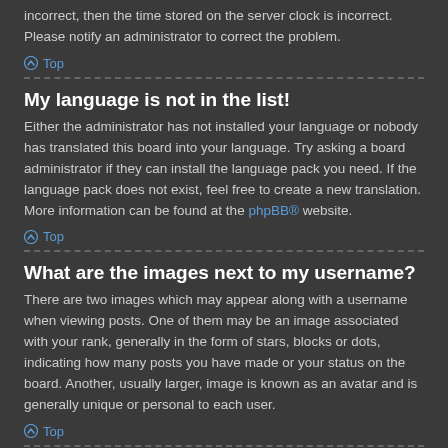incorrect, then the time stored on the server clock is incorrect. Please notify an administrator to correct the problem.
Top
My language is not in the list!
Either the administrator has not installed your language or nobody has translated this board into your language. Try asking a board administrator if they can install the language pack you need. If the language pack does not exist, feel free to create a new translation. More information can be found at the phpBB® website.
Top
What are the images next to my username?
There are two images which may appear along with a username when viewing posts. One of them may be an image associated with your rank, generally in the form of stars, blocks or dots, indicating how many posts you have made or your status on the board. Another, usually larger, image is known as an avatar and is generally unique or personal to each user.
Top